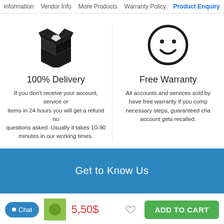information   Vendor Info   More Products   Warranty Policy   Product Enquiry
[Figure (illustration): Open box icon (black silhouette of an open cardboard box)]
100% Delivery
If you don't receive your account, service or items in 24 hours you will get a refund no questions asked. Usually it takes 10-90 minutes in our working times.
[Figure (illustration): Smiley face icon (circle with two dots for eyes and a curved smile)]
Free Warranty
All accounts and services sold by have free warranty if you comp necessary steps, guaranteed cha account gets recalled.
Get to Know Us
5,50$
ADD TO CART
Chat